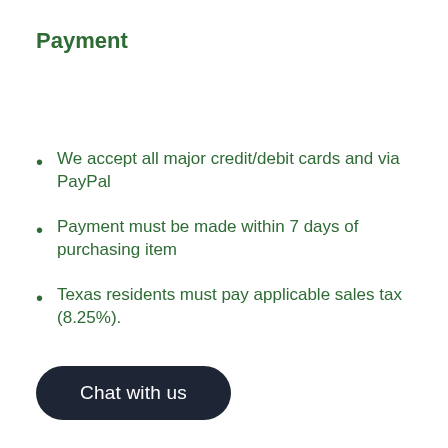Payment
We accept all major credit/debit cards and via PayPal
Payment must be made within 7 days of purchasing item
Texas residents must pay applicable sales tax (8.25%).
Chat with us